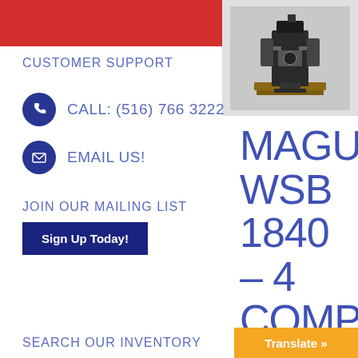[Figure (photo): Industrial machine (Maguire WSB 1840-4 Companion) on a pallet in a warehouse setting]
CUSTOMER SUPPORT
CALL: (516) 766 3222
EMAIL US!
JOIN OUR MAILING LIST
Sign Up Today!
MAGUIRE WSB 1840 – 4 COMPO...
SEARCH OUR INVENTORY
Translate »